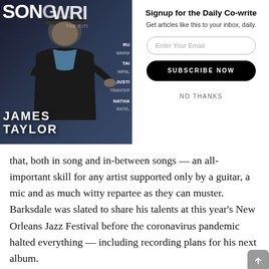[Figure (photo): Magazine cover showing a man in a dark jacket and cap, seated, with white text reading JAMES TAYLOR and cover lines including RU, TA IMPA, JUSTI TRANTE, NATHA RATE]
Signup for the Daily Co-write
Get articles like this to your inbox, daily.
Enter Your Email
SUBSCRIBE NOW
NO THANKS
that, both in song and in-between songs — an all-important skill for any artist supported only by a guitar, a mic and as much witty repartee as they can muster. Barksdale was slated to share his talents at this year's New Orleans Jazz Festival before the coronavirus pandemic halted everything — including recording plans for his next album.
That's what prompted him to release the song he